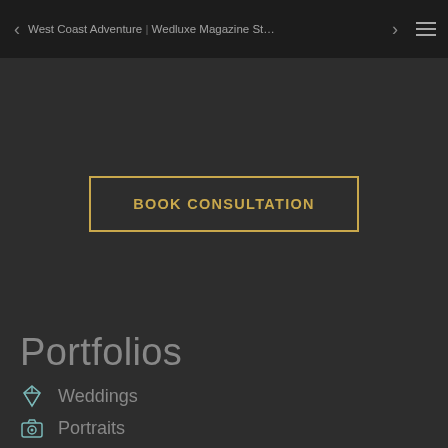West Coast Adventure | Wedluxe Magazine St…
BOOK CONSULTATION
Portfolios
Weddings
Portraits